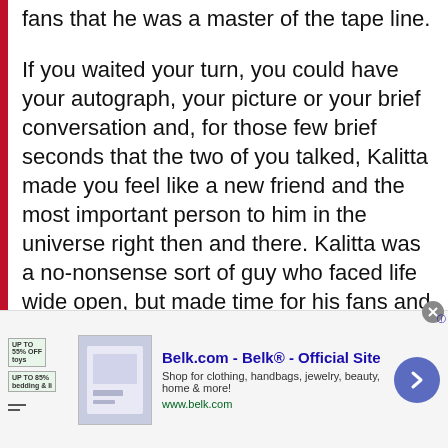fans that he was a master of the tape line. If you waited your turn, you could have your autograph, your picture or your brief conversation and, for those few brief seconds that the two of you talked, Kalitta made you feel like a new friend and the most important person to him in the universe right then and there. Kalitta was a no-nonsense sort of guy who faced life wide open, but made time for his fans and appreciated their support. Kalitta was an interesting sort of guy. He grew up around racing at the heels of his
[Figure (infographic): Advertisement banner for Belk.com - Belk Official Site. Shows badges with discount text, a product image placeholder, ad text 'Belk.com - Belk® - Official Site', description 'Shop for clothing, handbags, jewelry, beauty, home & more!', URL 'www.belk.com', a blue circular arrow button, and a close X button.]